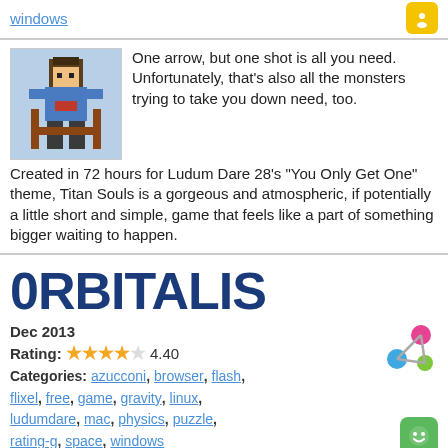windows
One arrow, but one shot is all you need. Unfortunately, that's also all the monsters trying to take you down need, too. Created in 72 hours for Ludum Dare 28's "You Only Get One" theme, Titan Souls is a gorgeous and atmospheric, if potentially a little short and simple, game that feels like a part of something bigger waiting to happen.
0RBITALIS
Dec 2013
Rating: 4.40
Categories: azucconi, browser, flash, flixel, free, game, gravity, linux, ludumdare, mac, physics, puzzle, rating-g, space, windows
With simple graphics and simple sound effects to match, Alan Zucconi's entry for Ludum Dare 28, 0RBITALIS, suits itself well. Control the trajectory of a satellite in different celestial situations to have it orbiting the different objects for the entirety of the given time limit. No